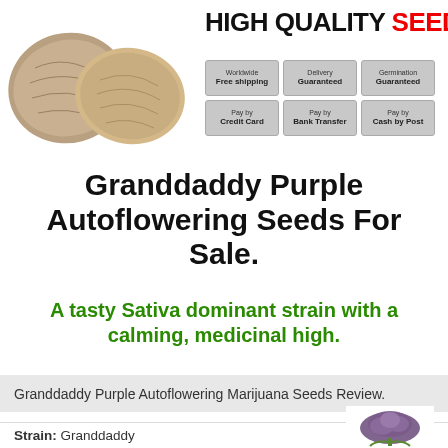[Figure (photo): Two cannabis seeds (brownish-tan, oval shaped) on white background, and a cannabis plant bud (purple/green) partially visible at bottom right]
HIGH QUALITY SEEDS
Worldwide Free shipping | Delivery Guaranteed | Germination Guaranteed | Pay by Credit Card | Pay by Bank Transfer | Pay by Cash by Post
Granddaddy Purple Autoflowering Seeds For Sale.
A tasty Sativa dominant strain with a calming, medicinal high.
Granddaddy Purple Autoflowering Marijuana Seeds Review.
Strain: Granddaddy